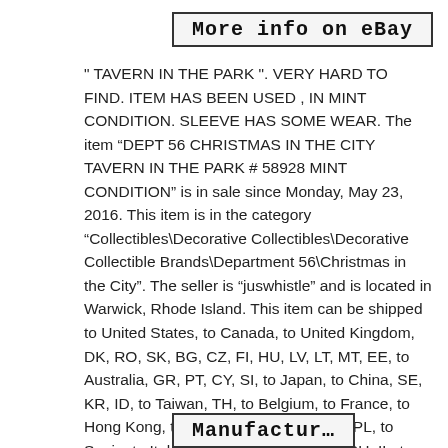[Figure (screenshot): Button labeled 'More info on eBay' with border]
" TAVERN IN THE PARK ". VERY HARD TO FIND. ITEM HAS BEEN USED , IN MINT CONDITION. SLEEVE HAS SOME WEAR. The item “DEPT 56 CHRISTMAS IN THE CITY TAVERN IN THE PARK # 58928 MINT CONDITION” is in sale since Monday, May 23, 2016. This item is in the category “Collectibles\Decorative Collectibles\Decorative Collectible Brands\Department 56\Christmas in the City”. The seller is “juswhistle” and is located in Warwick, Rhode Island. This item can be shipped to United States, to Canada, to United Kingdom, DK, RO, SK, BG, CZ, FI, HU, LV, LT, MT, EE, to Australia, GR, PT, CY, SI, to Japan, to China, SE, KR, ID, to Taiwan, TH, to Belgium, to France, to Hong Kong, to Ireland, to Netherlands, PL, to Spain, to Italy, to Germany, to Austria, RU, IL, to Mexico, to New Zealand, PH, SG, to Switzerland, NO, SA, UA, AE, QA, KW, BH, HR, MY, CL, CO, CR, DO, PA, TT, GT, SV, HN, JM.
[Figure (screenshot): Partially visible button at bottom of page]